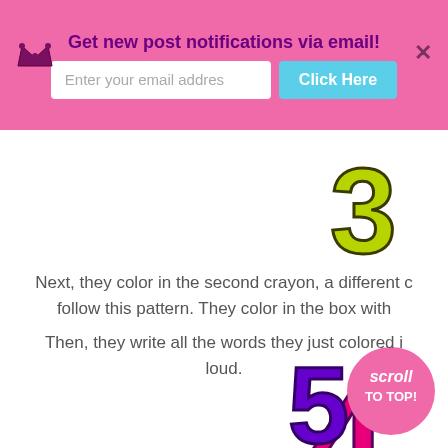Get new post notifications via email!
[Figure (illustration): Large stylized number 3 in yellow-green/chartreuse color with dark outline, partially visible at top right]
Next, they color in the second crayon, a different color, and follow this pattern. They color in the box with
[Figure (illustration): Large stylized number 4 in hot pink/magenta with dark purple outline]
Then, they write all the words they just colored in out loud.
[Figure (illustration): Pink circular badge with white text reading 'scroll TO TOP!']
[Figure (illustration): Large stylized number 5 in purple, partially visible at bottom right]